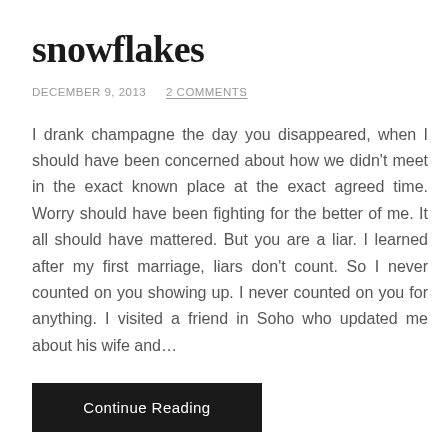snowflakes
DECEMBER 9, 2013    2 COMMENTS
I drank champagne the day you disappeared, when I should have been concerned about how we didn't meet in the exact known place at the exact agreed time. Worry should have been fighting for the better of me. It all should have mattered. But you are a liar. I learned after my first marriage, liars don't count. So I never counted on you showing up. I never counted on you for anything. I visited a friend in Soho who updated me about his wife and…
Continue Reading